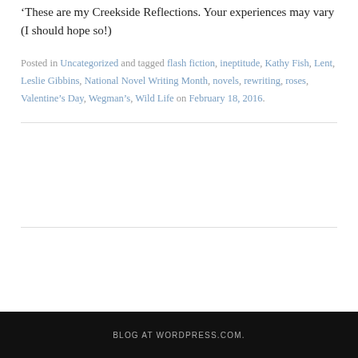These are my Creekside Reflections. Your experiences may vary (I should hope so!)
Posted in Uncategorized and tagged flash fiction, ineptitude, Kathy Fish, Lent, Leslie Gibbins, National Novel Writing Month, novels, rewriting, roses, Valentine's Day, Wegman's, Wild Life on February 18, 2016.
BLOG AT WORDPRESS.COM.